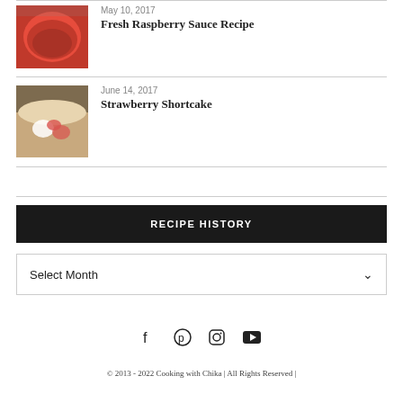[Figure (photo): Photo of raspberry sauce in a red bowl]
May 10, 2017
Fresh Raspberry Sauce Recipe
[Figure (photo): Photo of strawberry shortcake with whipped cream]
June 14, 2017
Strawberry Shortcake
RECIPE HISTORY
Select Month
f  ⊕  ⊙  ▶
© 2013 - 2022 Cooking with Chika | All Rights Reserved |